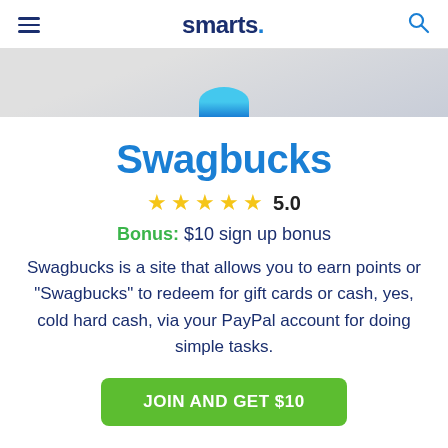smarts.
[Figure (illustration): Partial hero banner image showing a light gray background with a blue circular element at the top center]
Swagbucks
★★★★★ 5.0
Bonus: $10 sign up bonus
Swagbucks is a site that allows you to earn points or "Swagbucks" to redeem for gift cards or cash, yes, cold hard cash, via your PayPal account for doing simple tasks.
JOIN AND GET $10